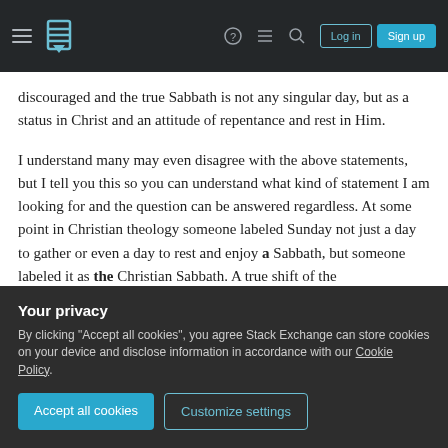Stack Exchange navigation bar with hamburger menu, logo, help, chat, search icons, Log in and Sign up buttons
discouraged and the true Sabbath is not any singular day, but as a status in Christ and an attitude of repentance and rest in Him.
I understand many may even disagree with the above statements, but I tell you this so you can understand what kind of statement I am looking for and the question can be answered regardless. At some point in Christian theology someone labeled Sunday not just a day to gather or even a day to rest and enjoy a Sabbath, but someone labeled it as the Christian Sabbath. A true shift of the
Your privacy
By clicking “Accept all cookies”, you agree Stack Exchange can store cookies on your device and disclose information in accordance with our Cookie Policy.
Accept all cookies
Customize settings